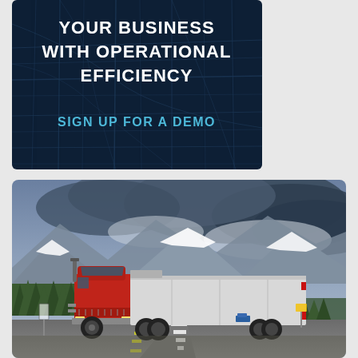[Figure (infographic): Dark navy blue advertisement banner with city street map overlay, white bold text reading 'YOUR BUSINESS WITH OPERATIONAL EFFICIENCY' and cyan text 'SIGN UP FOR A DEMO']
[Figure (photo): Photo of a red semi-truck with white trailer driving on a highway in a mountainous landscape with snow-capped peaks, green trees, and dramatic cloudy sky]